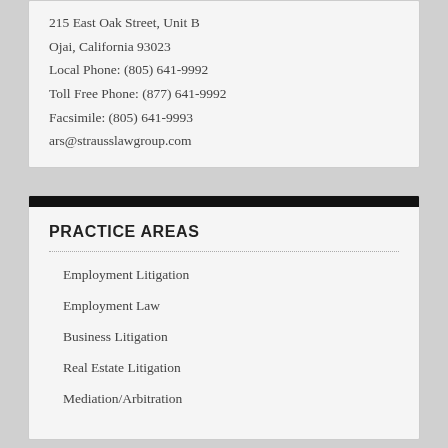215 East Oak Street, Unit B
Ojai, California 93023
Local Phone: (805) 641-9992
Toll Free Phone: (877) 641-9992
Facsimile: (805) 641-9993
ars@strausslawgroup.com
PRACTICE AREAS
Employment Litigation
Employment Law
Business Litigation
Real Estate Litigation
Mediation/Arbitration